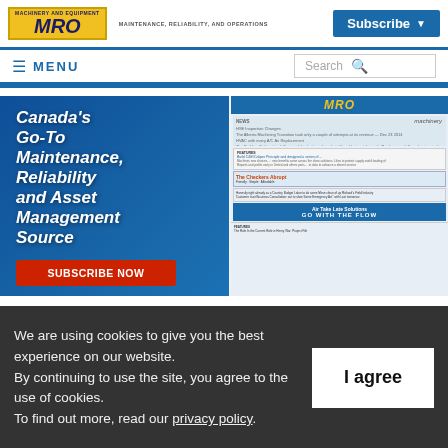MRO - MAINTENANCE, RELIABILITY, AND OPERATIONS | Subscribe
≡ MENU | Search
[Figure (illustration): MRO magazine subscription advertisement. Blue background with white italic bold text: Canada's Go-To Maintenance, Reliability and Asset Management Source. Red button: SUBSCRIBE NOW. Right side shows magazine cover with MRO logo and article previews.]
We are using cookies to give you the best experience on our website. By continuing to use the site, you agree to the use of cookies. To find out more, read our privacy policy.
I agree